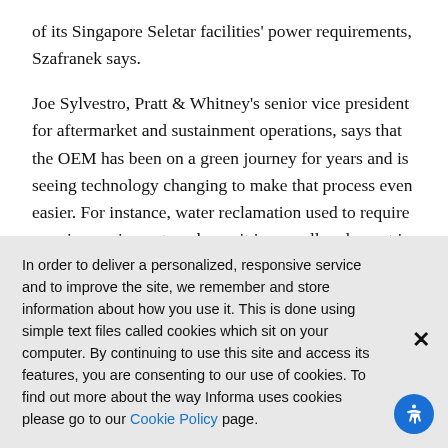of its Singapore Seletar facilities' power requirements, Szafranek says.
Joe Sylvestro, Pratt & Whitney's senior vice president for aftermarket and sustainment operations, says that the OEM has been on a green journey for years and is seeing technology changing to make that process even easier. For instance, water reclamation used to require massive equipment, and now it is a smaller element in the engine cell. Filtration has also i… Pratt & Whitn…
In order to deliver a personalized, responsive service and to improve the site, we remember and store information about how you use it. This is done using simple text files called cookies which sit on your computer. By continuing to use this site and access its features, you are consenting to our use of cookies. To find out more about the way Informa uses cookies please go to our Cookie Policy page.